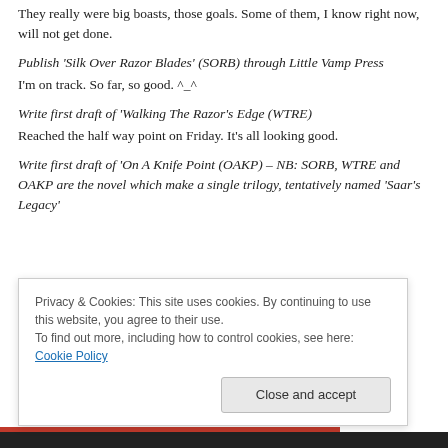They really were big boasts, those goals. Some of them, I know right now, will not get done.
Publish ‘Silk Over Razor Blades’ (SORB) through Little Vamp Press
I’m on track. So far, so good. ^_^
Write first draft of ‘Walking The Razor’s Edge (WTRE)
Reached the half way point on Friday. It’s all looking good.
Write first draft of ‘On A Knife Point (OAKP) – NB: SORB, WTRE and OAKP are the novel which make a single trilogy, tentatively named ‘Saar’s Legacy’
Privacy & Cookies: This site uses cookies. By continuing to use this website, you agree to their use.
To find out more, including how to control cookies, see here: Cookie Policy